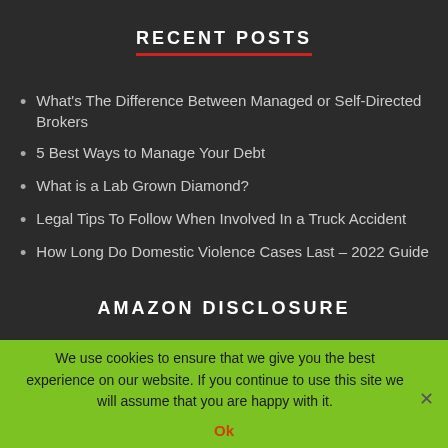RECENT POSTS
What's The Difference Between Managed or Self-Directed Brokers
5 Best Ways to Manage Your Debt
What is a Lab Grown Diamond?
Legal Tips To Follow When Involved In a Truck Accident
How Long Do Domestic Violence Cases Last – 2022 Guide
AMAZON DISCLOSURE
We use cookies to ensure that we give you the best experience on our website. If you continue to use this site we will assume that you are happy with it.
Ok